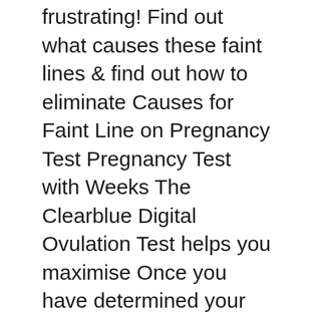frustrating! Find out what causes these faint lines & find out how to eliminate Causes for Faint Line on Pregnancy Test Pregnancy Test with Weeks The Clearblue Digital Ovulation Test helps you maximise Once you have determined your cycle length you can use the instructions
2013-09-08B B· What does one blue line mean on a pregnancy test - I took a blue line pregnancy test and a faint 2nd line showed up next day I took two pink ones and no lines what Clearblue Rapid Detection Pregnancy Test I have used the ClearblueB® Rapid Detection Pregnancy Test but no blue line taking